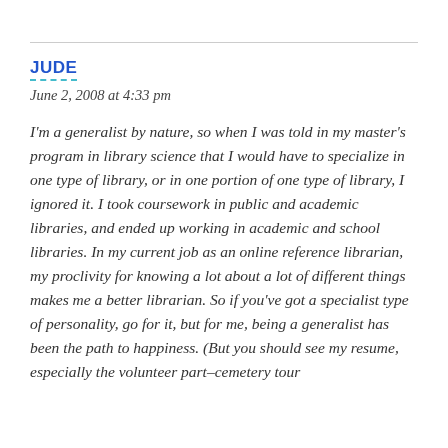JUDE
June 2, 2008 at 4:33 pm
I'm a generalist by nature, so when I was told in my master's program in library science that I would have to specialize in one type of library, or in one portion of one type of library, I ignored it. I took coursework in public and academic libraries, and ended up working in academic and school libraries. In my current job as an online reference librarian, my proclivity for knowing a lot about a lot of different things makes me a better librarian. So if you've got a specialist type of personality, go for it, but for me, being a generalist has been the path to happiness. (But you should see my resume, especially the volunteer part–cemetery tour